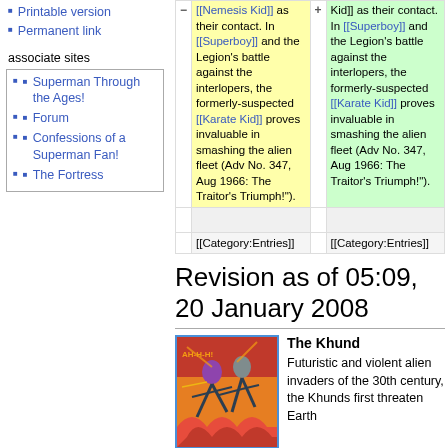Printable version
Permanent link
associate sites
Superman Through the Ages!
Forum
Confessions of a Superman Fan!
The Fortress
| - | old | + | new |
| --- | --- | --- | --- |
| − | [[Nemesis Kid]] as their contact. In [[Superboy]] and the Legion's battle against the interlopers, the formerly-suspected [[Karate Kid]] proves invaluable in smashing the alien fleet (Adv No. 347, Aug 1966: The Traitor's Triumph!"). | + | Kid]] as their contact. In [[Superboy]] and the Legion's battle against the interlopers, the formerly-suspected [[Karate Kid]] proves invaluable in smashing the alien fleet (Adv No. 347, Aug 1966: The Traitor's Triumph!"). |
|  |  |  |  |
|  | [[Category:Entries]] |  | [[Category:Entries]] |
Revision as of 05:09, 20 January 2008
[Figure (illustration): Comic book illustration showing action scene with fighting figures in red and orange tones]
The Khund
Futuristic and violent alien invaders of the 30th century, the Khunds first threaten Earth